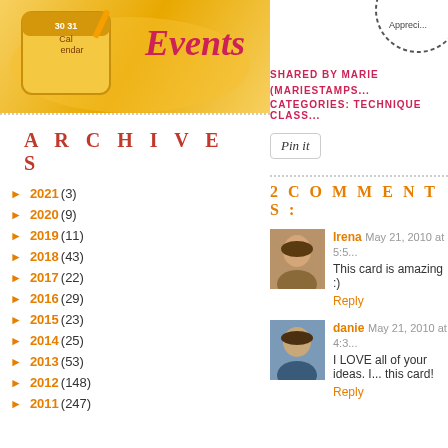[Figure (illustration): Calendar Events banner image with yellow decorative background and calendar icon]
[Figure (logo): Appreciation stamp circle logo partially visible]
SHARED BY MARIE (MARIESTAMPS... CATEGORIES: TECHNIQUE CLASS...
[Figure (other): Pin it button]
ARCHIVES
2 COMMENTS:
► 2021 (3)
► 2020 (9)
► 2019 (11)
► 2018 (43)
► 2017 (22)
► 2016 (29)
► 2015 (23)
► 2014 (25)
► 2013 (53)
► 2012 (148)
► 2011 (247)
Irena May 21, 2010 at 5:5...
This card is amazing :)
Reply
danie May 21, 2010 at 4:3...
I LOVE all of your ideas. I... this card!
Reply